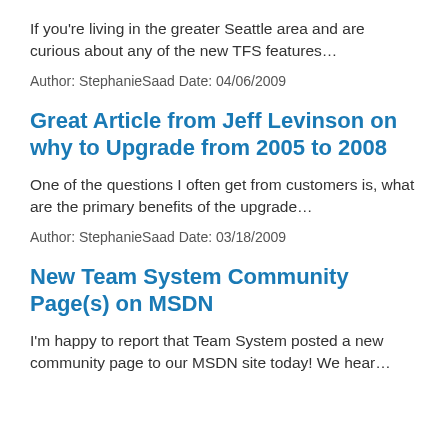If you're living in the greater Seattle area and are curious about any of the new TFS features…
Author: StephanieSaad Date: 04/06/2009
Great Article from Jeff Levinson on why to Upgrade from 2005 to 2008
One of the questions I often get from customers is, what are the primary benefits of the upgrade…
Author: StephanieSaad Date: 03/18/2009
New Team System Community Page(s) on MSDN
I'm happy to report that Team System posted a new community page to our MSDN site today! We hear…